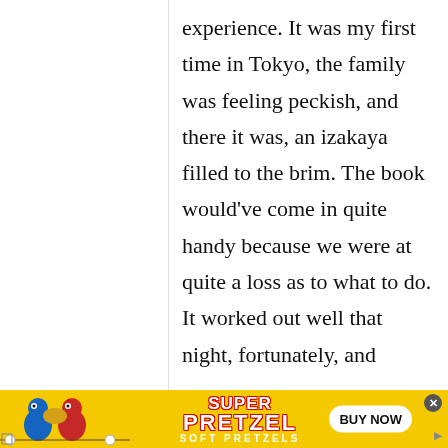experience. It was my first time in Tokyo, the family was feeling peckish, and there it was, an izakaya filled to the brim. The book would've come in quite handy because we were at quite a loss as to what to do. It worked out well that night, fortunately, and
[Figure (illustration): SuperPretzel Soft Pretzels advertisement banner with cartoon pretzel characters, logo, and BUY NOW button on a yellow background]